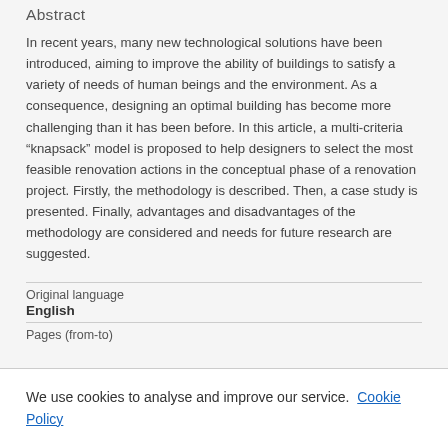Abstract
In recent years, many new technological solutions have been introduced, aiming to improve the ability of buildings to satisfy a variety of needs of human beings and the environment. As a consequence, designing an optimal building has become more challenging than it has been before. In this article, a multi-criteria “knapsack” model is proposed to help designers to select the most feasible renovation actions in the conceptual phase of a renovation project. Firstly, the methodology is described. Then, a case study is presented. Finally, advantages and disadvantages of the methodology are considered and needs for future research are suggested.
| Original language |  |
| English |  |
| Pages (from-to) |  |
We use cookies to analyse and improve our service. Cookie Policy